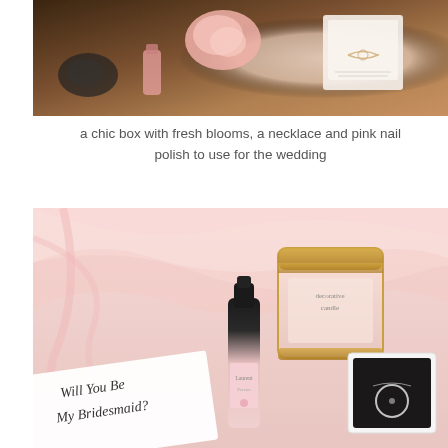[Figure (photo): A chic wooden box with a fresh pink rose bloom, a necklace on a card, and pink nail polish items arranged inside]
a chic box with fresh blooms, a necklace and pink nail polish to use for the wedding
[Figure (photo): A bridesmaid proposal box with pink tissue paper, a mini champagne bottle, a pink candle in gold jar, a necklace in a black ring box, and a 'Will You Be My Bridesmaid?' card]